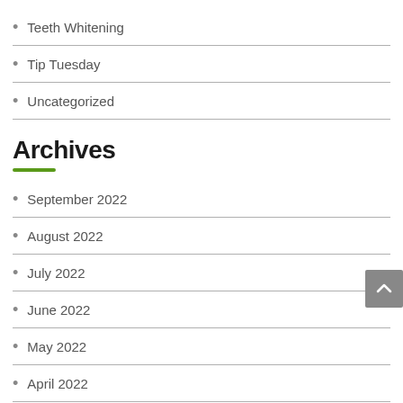Teeth Whitening
Tip Tuesday
Uncategorized
Archives
September 2022
August 2022
July 2022
June 2022
May 2022
April 2022
March 2022
February 2022